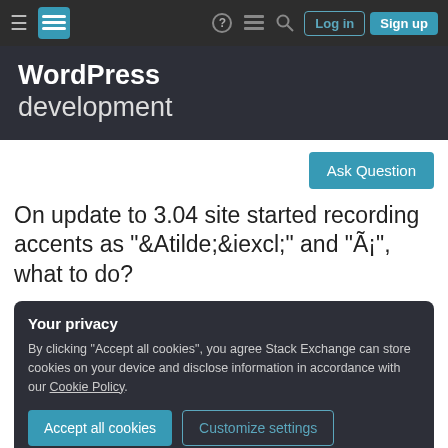≡  [Stack Exchange logo]  ?  ≡  🔍  Log in  Sign up
WordPress development
Ask Question
On update to 3.04 site started recording accents as "&Atilde;&iexcl;" and "Ã¡", what to do?
Your privacy
By clicking "Accept all cookies", you agree Stack Exchange can store cookies on your device and disclose information in accordance with our Cookie Policy.
Accept all cookies  Customize settings
submit a post with an accent on the title it records it